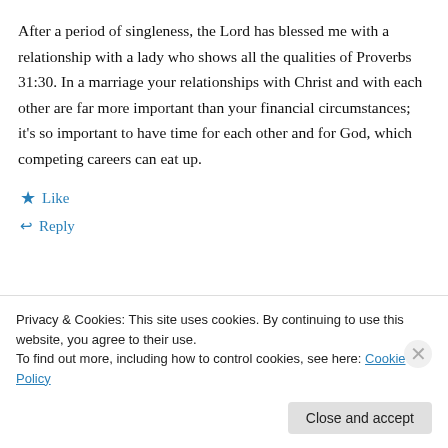After a period of singleness, the Lord has blessed me with a relationship with a lady who shows all the qualities of Proverbs 31:30. In a marriage your relationships with Christ and with each other are far more important than your financial circumstances; it's so important to have time for each other and for God, which competing careers can eat up.
★ Like
↩ Reply
Privacy & Cookies: This site uses cookies. By continuing to use this website, you agree to their use. To find out more, including how to control cookies, see here: Cookie Policy
Close and accept